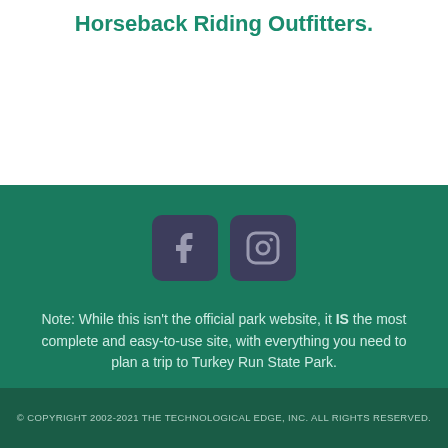Horseback Riding Outfitters.
[Figure (illustration): Social media icons: Facebook and Instagram rounded square buttons in dark navy/grey on teal green background]
Note: While this isn't the official park website, it IS the most complete and easy-to-use site, with everything you need to plan a trip to Turkey Run State Park.
© COPYRIGHT 2002-2021 THE TECHNOLOGICAL EDGE, INC. ALL RIGHTS RESERVED.